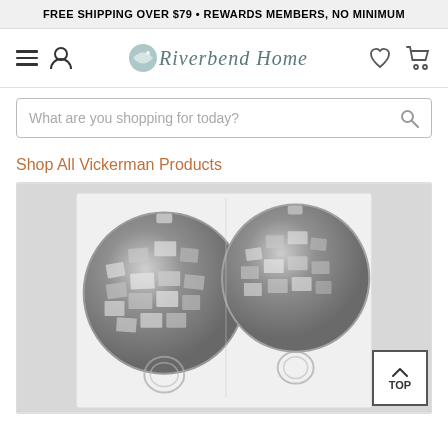FREE SHIPPING OVER $79 • REWARDS MEMBERS, NO MINIMUM
[Figure (logo): Riverbend Home logo with fish icon and navigation icons (hamburger menu, user, heart, cart)]
What are you shopping for today?
Shop All Vickerman Products
[Figure (photo): Four silver disco ball ornaments in clear packaging, reflective faceted surface]